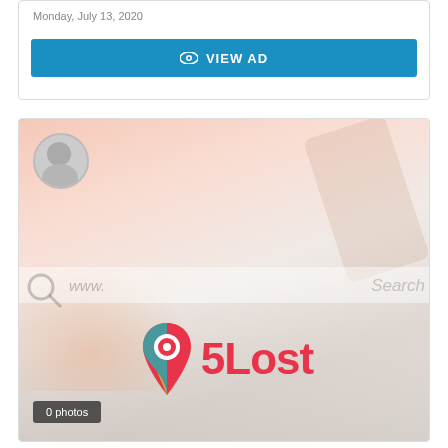Monday, July 13, 2020
VIEW AD
[Figure (screenshot): 5Lost website logo on a faded background showing a keyboard and hand, with a search bar overlay and a user avatar in top-left corner. The logo features a map pin with the text '5Lost' in red.]
0 photos